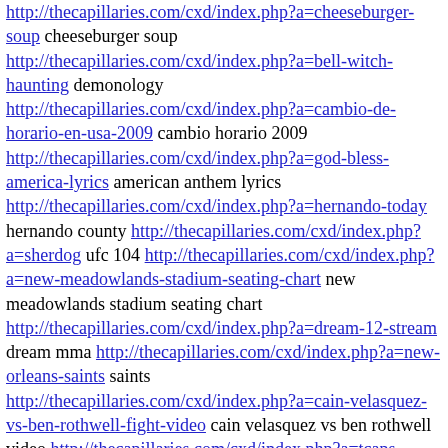http://thecapillaries.com/cxd/index.php?a=cheeseburger-soup cheeseburger soup http://thecapillaries.com/cxd/index.php?a=bell-witch-haunting demonology http://thecapillaries.com/cxd/index.php?a=cambio-de-horario-en-usa-2009 cambio horario 2009 http://thecapillaries.com/cxd/index.php?a=god-bless-america-lyrics american anthem lyrics http://thecapillaries.com/cxd/index.php?a=hernando-today hernando county http://thecapillaries.com/cxd/index.php?a=sherdog ufc 104 http://thecapillaries.com/cxd/index.php?a=new-meadowlands-stadium-seating-chart new meadowlands stadium seating chart http://thecapillaries.com/cxd/index.php?a=dream-12-stream dream mma http://thecapillaries.com/cxd/index.php?a=new-orleans-saints saints http://thecapillaries.com/cxd/index.php?a=cain-velasquez-vs-ben-rothwell-fight-video cain velasquez vs ben rothwell video http://thecapillaries.com/cxd/index.php?a=tcaps michigan high school football http://thecapillaries.com/cxd/index.php?a=owlnet tuportal http://thecapillaries.com/cxd/index.php?a=halloween-math-activities halloween math activities http://thecapillaries.com/cxd/index.php?a=matt-maddox christa davies http://thecapillaries.com/cxd/index.php?a=india-ld-calling indiald http://thecapillaries.com/cxd/index.php?a=curb-your-enthusiasm-season-7-episode-6 curb your enthusiasm season 7 episode 6 http://thecapillaries.com/cxd/index.php?a=qnexa-diet-pill qnexa diet pill http://thecapillaries.com/cxd/index.php?a=calle-